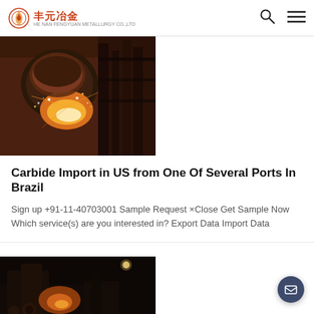丰元冶金
[Figure (photo): Industrial steel factory with molten metal pouring and bright sparks]
Carbide Import in US from One Of Several Ports In Brazil
Sign up +91-11-40703001 Sample Request ×Close Get Sample Now Which service(s) are you interested in? Export Data Import Data
[Figure (photo): Industrial factory interior at night with machinery and workers]